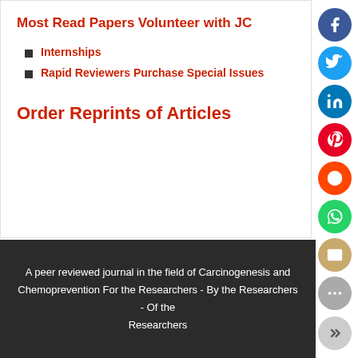Most Read Papers
Volunteer with JC
Internships
Rapid Reviewers Purchase Special Issues
Order Reprints of Articles
A peer reviewed journal in the field of Carcinogenesis and Chemoprevention For the Researchers - By the Researchers - Of the Researchers